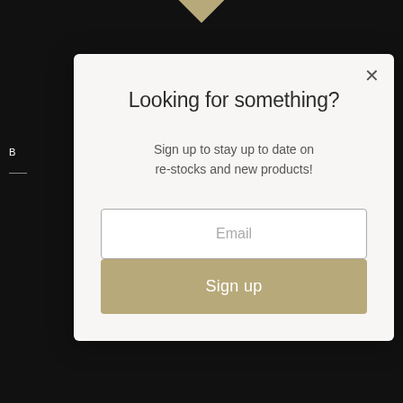Looking for something?
Sign up to stay up to date on re-stocks and new products!
Email
Sign up